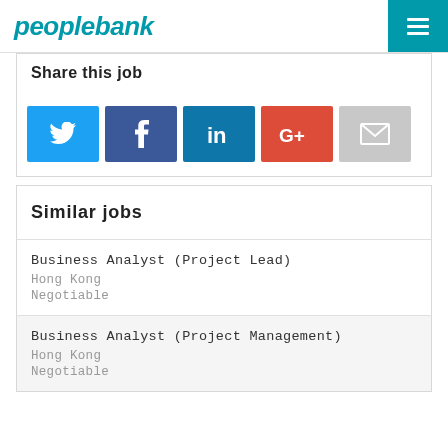peoplebank
Share this job
[Figure (infographic): Social share buttons: Twitter (blue), Facebook (dark blue), LinkedIn (blue), Google+ (red), Email (grey)]
Similar jobs
Business Analyst (Project Lead)
Hong Kong
Negotiable
Business Analyst (Project Management)
Hong Kong
Negotiable